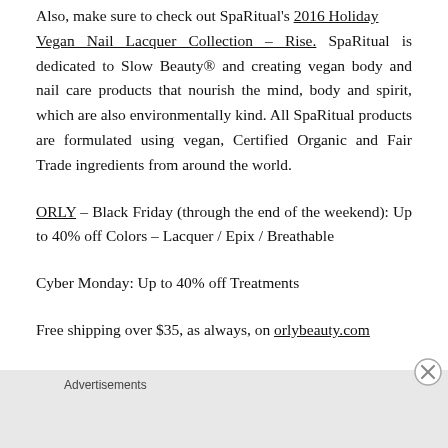Also, make sure to check out SpaRitual's 2016 Holiday Vegan Nail Lacquer Collection – Rise. SpaRitual is dedicated to Slow Beauty® and creating vegan body and nail care products that nourish the mind, body and spirit, which are also environmentally kind. All SpaRitual products are formulated using vegan, Certified Organic and Fair Trade ingredients from around the world.
ORLY – Black Friday (through the end of the weekend): Up to 40% off Colors – Lacquer / Epix / Breathable
Cyber Monday: Up to 40% off Treatments
Free shipping over $35, as always, on orlybeauty.com
Advertisements